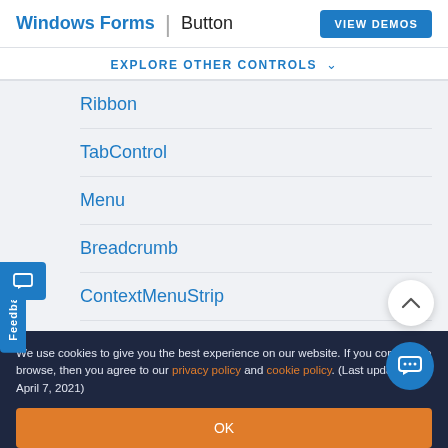Windows Forms | Button
EXPLORE OTHER CONTROLS
Ribbon
TabControl
Menu
Breadcrumb
ContextMenuStrip
Excel-like Tabbar Splitter
Navigation Pane
Multicolumn TreeView
We use cookies to give you the best experience on our website. If you continue to browse, then you agree to our privacy policy and cookie policy. (Last updated on: April 7, 2021)